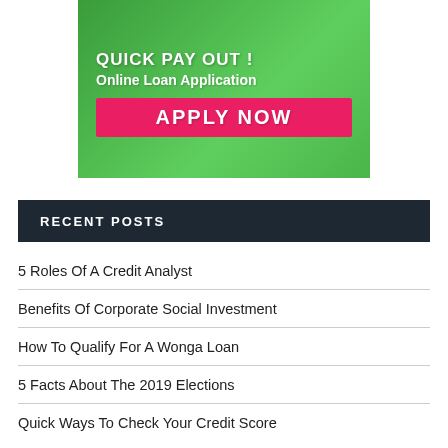[Figure (illustration): Green background advertisement banner showing two people hugging, with text 'QUICK PAY OUT! Online Loan Application' and a red 'APPLY NOW' button]
RECENT POSTS
5 Roles Of A Credit Analyst
Benefits Of Corporate Social Investment
How To Qualify For A Wonga Loan
5 Facts About The 2019 Elections
Quick Ways To Check Your Credit Score